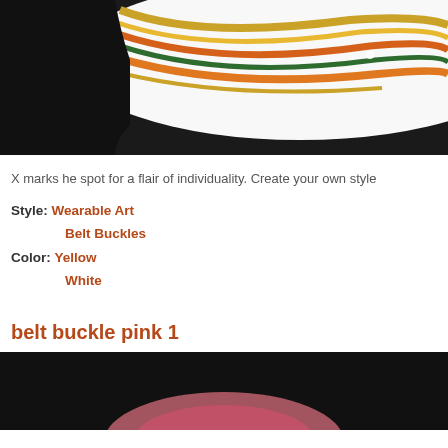[Figure (photo): Close-up photo of a belt buckle with yellow, orange, green and gold striped swirling design on white background, set against black border]
X marks he spot for a flair of individuality. Create your own style
Style: Wearable Art
       Belt Buckles
Color: Yellow
       White
belt buckle pink 1
[Figure (photo): Bottom portion of product photo showing pink belt buckle on dark background]